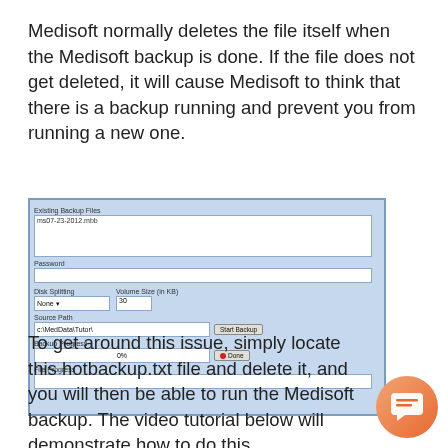Medisoft normally deletes the file itself when the Medisoft backup is done. If the file does not get deleted, it will cause Medisoft to think that there is a backup running and prevent you from running a new one.
[Figure (screenshot): Screenshot of Medisoft backup dialog showing fields: Existing Backup Files (with file ms07-23-2012.mbb listed), Password, Disk Splitting/None, Volume Size in KB/30, Source Path c:\MedData\Tutor\, Start Backup button, Backup Progress 0%, Done button with red dot, File Progress field.]
To get around this issue, simply locate this hotbackup.txt file and delete it, and you will then be able to run the Medisoft backup. The video tutorial below will demonstrate how to do this.